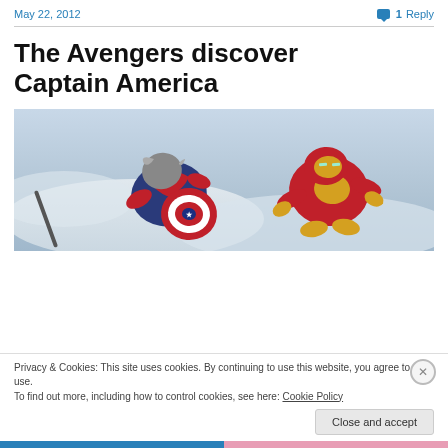May 22, 2012   1 Reply
The Avengers discover Captain America
[Figure (photo): Action figures of Captain America and Iron Man in snowy scene, viewed from above]
Privacy & Cookies: This site uses cookies. By continuing to use this website, you agree to their use.
To find out more, including how to control cookies, see here: Cookie Policy